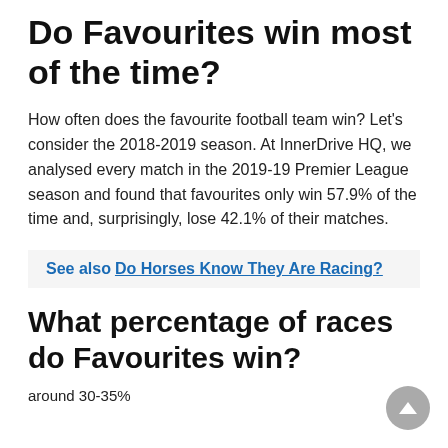Do Favourites win most of the time?
How often does the favourite football team win? Let's consider the 2018-2019 season. At InnerDrive HQ, we analysed every match in the 2019-19 Premier League season and found that favourites only win 57.9% of the time and, surprisingly, lose 42.1% of their matches.
See also  Do Horses Know They Are Racing?
What percentage of races do Favourites win?
around 30-35%